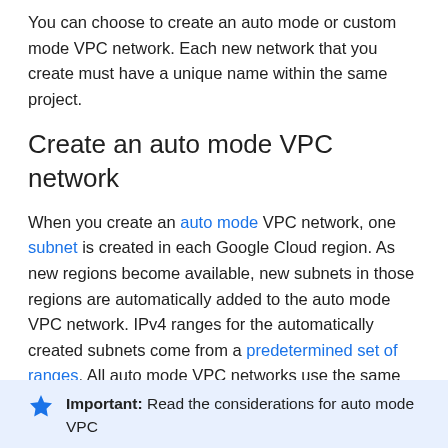You can choose to create an auto mode or custom mode VPC network. Each new network that you create must have a unique name within the same project.
Create an auto mode VPC network
When you create an auto mode VPC network, one subnet is created in each Google Cloud region. As new regions become available, new subnets in those regions are automatically added to the auto mode VPC network. IPv4 ranges for the automatically created subnets come from a predetermined set of ranges. All auto mode VPC networks use the same set of IPv4 ranges.
Subnets with IPv6 ranges are not supported on auto mode VPC networks. Create a custom mode VPC network if you want to create dual-stack subnets.
Important: Read the considerations for auto mode VPC